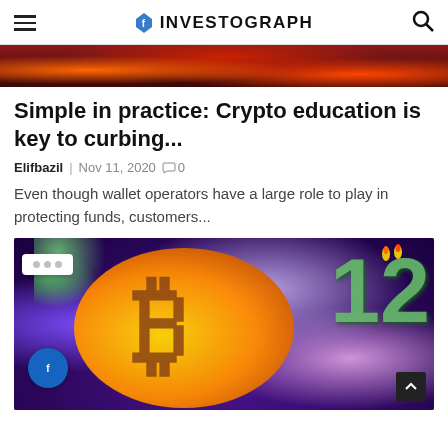INVESTOGRAPH
[Figure (photo): Dark red and black banner image with fiery/forest tones at top of article]
Simple in practice: Crypto education is key to curbing...
Elifbazil  Nov 11, 2020  0
Even though wallet operators have a large role to play in protecting funds, customers...
[Figure (illustration): Colorful crypto illustration showing a large golden Bitcoin symbol with the number 12 and birthday candles on a purple/starry background, with a chat bubble overlay showing three dots and an Investograph logo badge in the lower left]